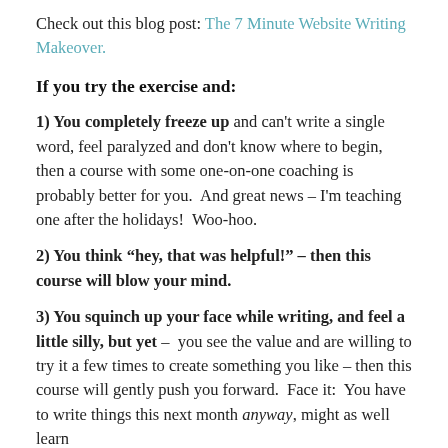Check out this blog post: The 7 Minute Website Writing Makeover.
If you try the exercise and:
1) You completely freeze up and can't write a single word, feel paralyzed and don't know where to begin, then a course with some one-on-one coaching is probably better for you.  And great news – I'm teaching one after the holidays!  Woo-hoo.
2) You think “hey, that was helpful!” – then this course will blow your mind.
3) You squinch up your face while writing, and feel a little silly, but yet –  you see the value and are willing to try it a few times to create something you like – then this course will gently push you forward.  Face it:  You have to write things this next month anyway, might as well learn